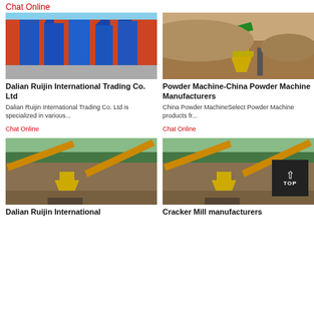Chat Online
[Figure (photo): Industrial blue dust collector silos against a red building exterior]
Dalian Ruijin International Trading Co. Ltd
Dalian Ruijin International Trading Co. Ltd is specialized in various...
Chat Online
[Figure (photo): Aerial view of a cone crusher and conveyor belts at a mining/quarry site]
Powder Machine-China Powder Machine Manufacturers
China Powder MachineSelect Powder Machine products fr...
Chat Online
[Figure (photo): Industrial crushing and conveyor plant with yellow machinery and green trees in background]
Dalian Ruijin International
[Figure (photo): Industrial crushing and conveyor plant with yellow cone crusher and conveyor belts]
Cracker Mill manufacturers